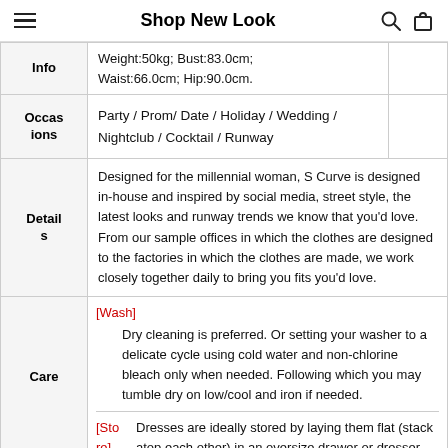Shop New Look
| Label | Content |
| --- | --- |
| Info | Weight:50kg; Bust:83.0cm; Waist:66.0cm; Hip:90.0cm. |
| Occasions | Party / Prom/ Date / Holiday / Wedding / Nightclub / Cocktail / Runway |
| Details | Designed for the millennial woman, S Curve is designed in-house and inspired by social media, street style, the latest looks and runway trends we know that you'd love. From our sample offices in which the clothes are designed to the factories in which the clothes are made, we work closely together daily to bring you fits you'd love. |
| Care | [Wash] Dry cleaning is preferred. Or setting your washer to a delicate cycle using cold water and non-chlorine bleach only when needed. Following which you may tumble dry on low/cool and iron if needed.
[Store] Dresses are ideally stored by laying them flat (stack atop each other) in an oversize drawer or dresser |